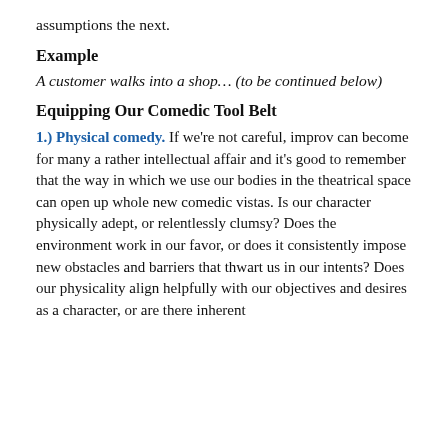assumptions the next.
Example
A customer walks into a shop… (to be continued below)
Equipping Our Comedic Tool Belt
1.) Physical comedy. If we're not careful, improv can become for many a rather intellectual affair and it's good to remember that the way in which we use our bodies in the theatrical space can open up whole new comedic vistas. Is our character physically adept, or relentlessly clumsy? Does the environment work in our favor, or does it consistently impose new obstacles and barriers that thwart us in our intents? Does our physicality align helpfully with our objectives and desires as a character, or are there inherent